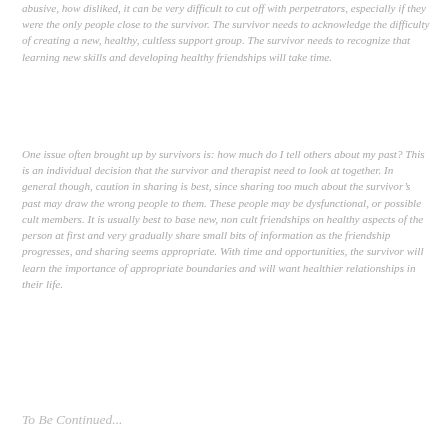abusive, how disliked, it can be very difficult to cut off with perpetrators, especially if they were the only people close to the survivor. The survivor needs to acknowledge the difficulty of creating a new, healthy, cultless support group. The survivor needs to recognize that learning new skills and developing healthy friendships will take time.
One issue often brought up by survivors is: how much do I tell others about my past? This is an individual decision that the survivor and therapist need to look at together. In general though, caution in sharing is best, since sharing too much about the survivor's past may draw the wrong people to them. These people may be dysfunctional, or possible cult members. It is usually best to base new, non cult friendships on healthy aspects of the person at first and very gradually share small bits of information as the friendship progresses, and sharing seems appropriate. With time and opportunities, the survivor will learn the importance of appropriate boundaries and will want healthier relationships in their life.
To Be Continued...